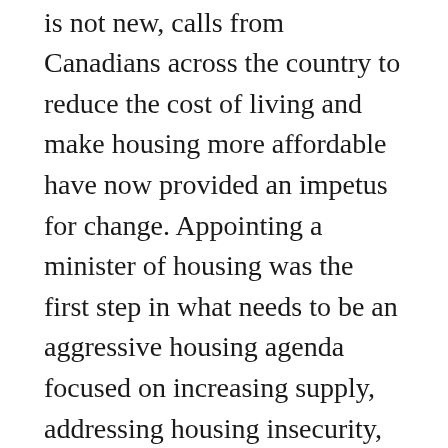While Canada's housing crisis is not new, calls from Canadians across the country to reduce the cost of living and make housing more affordable have now provided an impetus for change. Appointing a minister of housing was the first step in what needs to be an aggressive housing agenda focused on increasing supply, addressing housing insecurity, growing the building-trade labour force, and unlocking federal support to make it all happen.
In 2019, the National Housing Strategy Act included the historic recognition of housing as a human right. At the same time, according to Statistics Canada, 235,000 people will experience homelessness in any given year. At the other end